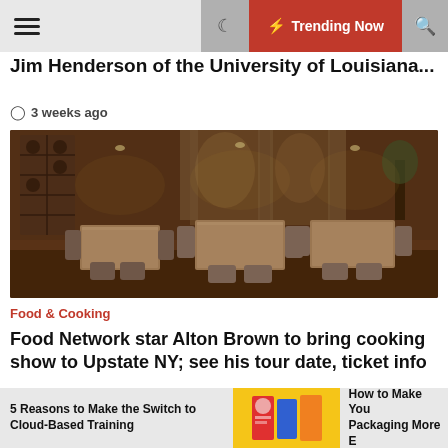☰ ☾ ⚡ Trending Now 🔍
Jim Henderson of the University of Louisiana...
3 weeks ago
[Figure (photo): Interior of an upscale restaurant with dining tables, chairs, warm lighting, wine racks and draped curtains in the background]
Food & Cooking
Food Network star Alton Brown to bring cooking show to Upstate NY; see his tour date, ticket info
3 weeks ago
[Figure (screenshot): Bottom ad strip showing: '5 Reasons to Make the Switch to Cloud-Based Training', a product image with yellow and colorful packaging, and 'How to Make You Packaging More E']